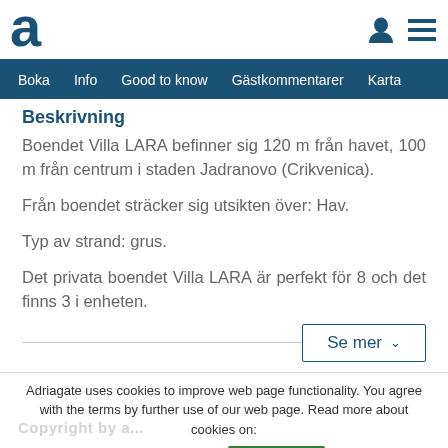Adriagate – logo and navigation header
Beskrivning
Boendet Villa LARA befinner sig 120 m från havet, 100 m från centrum i staden Jadranovo (Crikvenica).
Från boendet sträcker sig utsikten över: Hav.
Typ av strand: grus.
Det privata boendet Villa LARA är perfekt för 8 och det finns 3 i enheten.
Se mer ∨
Adriagate uses cookies to improve web page functionality. You agree with the terms by further use of our web page. Read more about cookies on:
Privacy Policy   Stäng